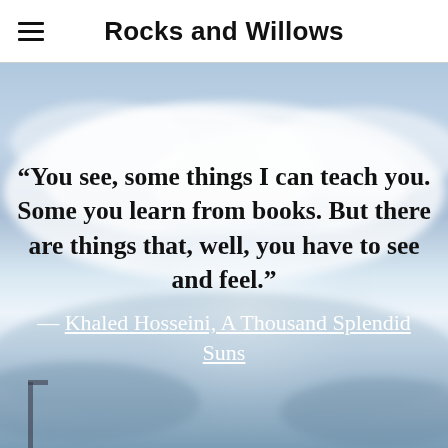Rocks and Willows
[Figure (photo): Sky background with clouds, blue and white tones, slightly blurred]
“You see, some things I can teach you. Some you learn from books. But there are things that, well, you have to see and feel.” — Khaled Hosseini, A Thousand Splendid Suns